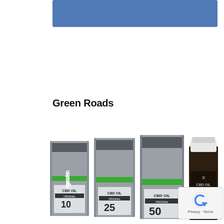[Figure (illustration): Blue header banner/rectangle at the top of the page]
Green Roads
[Figure (photo): Green Roads CBD Oil product lineup showing three gray product boxes labeled 'green roads CBD OIL ORIGINAL' with dosages 10, 25, and 50, alongside a dark amber bottle labeled 'CBD OIL ORIGINAL 50', all arranged in a row on a white background]
[Figure (other): reCAPTCHA privacy badge in bottom right with blue arrow icon and 'Privacy · Terms' text]